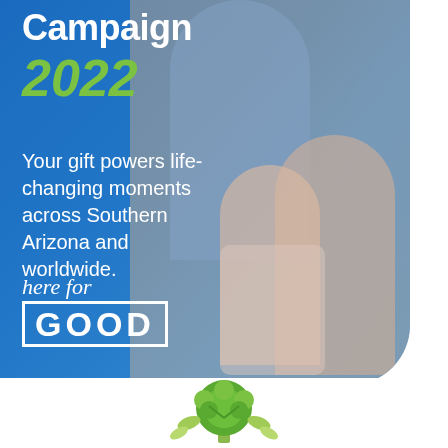Campaign
2022
Your gift powers life-changing moments across Southern Arizona and worldwide.
[Figure (logo): here for GOOD logo — cursive 'here for' above bold white 'GOOD' in a white rectangular border]
[Figure (photo): Background photo of elderly woman with two young girls looking at something together, overlaid on blue gradient background]
[Figure (illustration): Green tree logo at bottom center of page on white background]